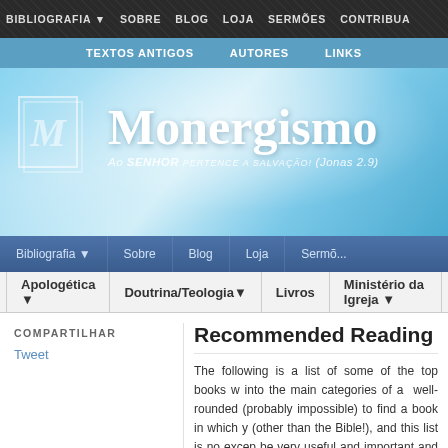BIBLIOGRAFIA | SOBRE | BLOG | LOJA | SERMÕES | CONTRIBUA
TEXTOS ANTIGOS | AUTORES | LINKS
[Figure (screenshot): Monergismo website hero banner with logo M and tagline Ao SENHOR pertence a salvação! (Jonas 2.9)]
Bibliografia | Sobre | Blog | Loja | Sermões
Apologética | Doutrina/Teologia | Livros | Ministério da Igreja
Recommended Reading
COMPARTILHAR
Tweet
The following is a list of some of the top books w... into the main categories of a well-rounded (probably impossible) to find a book in which y (other than the Bible!), and this list is no excep be very useful and important and solid, but this that we are in complete agreement with literally